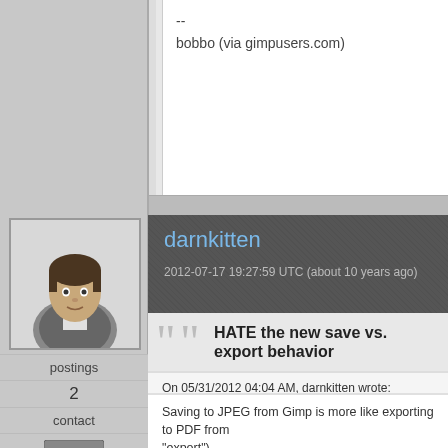--
bobbo (via gimpusers.com)
darnkitten
2012-07-17 19:27:59 UTC (about 10 years ago)
HATE the new save vs. export behavior
On 05/31/2012 04:04 AM, darnkitten wrote:
I sell LibreOffice, by pointing out that not only can it OPEN and old Works files, It also allows the option of setting defa can be read by everyone-- though with a "you will lose form
Saving to JPEG from Gimp is more like exporting to PDF from "export").
postings
2
contact